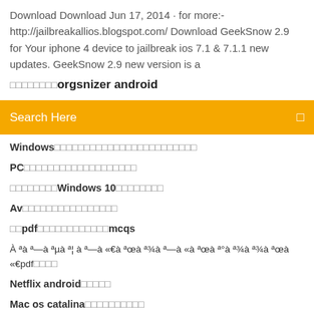Download Download Jun 17, 2014 · for more:- http://jailbreakallios.blogspot.com/ Download GeekSnow 2.9 for Your iphone 4 device to jailbreak ios 7.1 & 7.1.1 new updates. GeekSnow 2.9 new version is a
□□□□□□□□orgsnizer android
Search Here
Windows□□□□□□□□□□□□□□□□□□□□□□□□
PC□□□□□□□□□□□□□□□□□□□
□□□□□□□□Windows 10□□□□□□□□
Av□□□□□□□□□□□□□□□□
□□pdf□□□□□□□□□□□□mcqs
À ªà ª—à ªµà ª¦ à ª—à «€à ªœà ª¾à ª—à «à ªœà ª°à ª¾à ªœà «€pdf□□□□
Netflix android□□□□□
Mac os catalina□□□□□□□□□□
□□pdf□□□□□□
□□□□□  os2  □□□□□□□